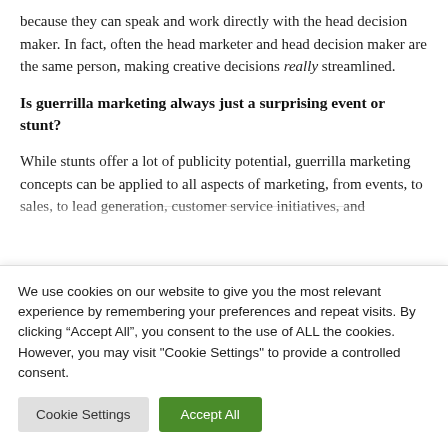because they can speak and work directly with the head decision maker. In fact, often the head marketer and head decision maker are the same person, making creative decisions really streamlined.
Is guerrilla marketing always just a surprising event or stunt?
While stunts offer a lot of publicity potential, guerrilla marketing concepts can be applied to all aspects of marketing, from events, to sales, to lead generation, customer service initiatives, and
We use cookies on our website to give you the most relevant experience by remembering your preferences and repeat visits. By clicking “Accept All”, you consent to the use of ALL the cookies. However, you may visit "Cookie Settings" to provide a controlled consent.